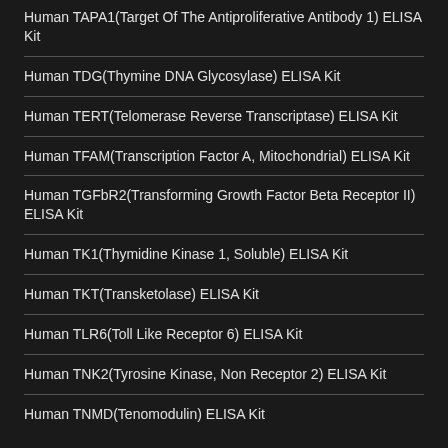Human TAPA1(Target Of The Antiproliferative Antibody 1) ELISA Kit
Human TDG(Thymine DNA Glycosylase) ELISA Kit
Human TERT(Telomerase Reverse Transcriptase) ELISA Kit
Human TFAM(Transcription Factor A, Mitochondrial) ELISA Kit
Human TGFbR2(Transforming Growth Factor Beta Receptor II) ELISA Kit
Human TK1(Thymidine Kinase 1, Soluble) ELISA Kit
Human TKT(Transketolase) ELISA Kit
Human TLR6(Toll Like Receptor 6) ELISA Kit
Human TNK2(Tyrosine Kinase, Non Receptor 2) ELISA Kit
Human TNMD(Tenomodulin) ELISA Kit